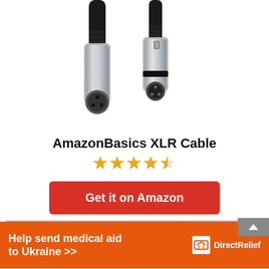[Figure (photo): Two XLR cable connectors (male and female) with silver metallic ends and black cables, showing the AmazonBasics branding on the cable.]
AmazonBasics XLR Cable
[Figure (other): 4.5 out of 5 stars rating shown as golden star icons]
Get it on Amazon
[Figure (infographic): Orange advertisement banner: Help send medical aid to Ukraine >> with Direct Relief logo]